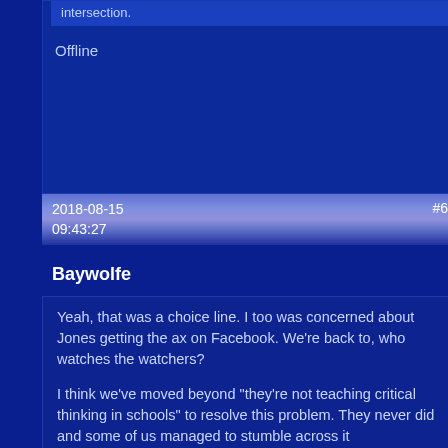intersection.
Offline
2018-08-15 09:43:27  #6
Baywolfe
Yeah, that was a choice line.  I too was concerned about Jones getting the ax on Facebook.  We're back to, who watches the watchers?
I think we've moved beyond "they're not teaching critical thinking in schools" to resolve this problem.  They never did and some of us managed to stumble across it